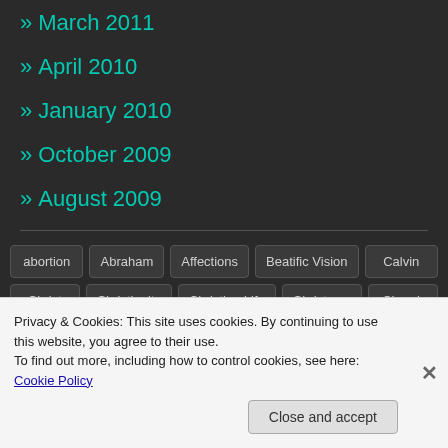» March 2011
» April 2010
» January 2010
» October 2009
» August 2009
abortion  Abraham  Affections  Beatific Vision  Calvin  Christ  Christianity  Christian Life  Christmas  Church
Privacy & Cookies: This site uses cookies. By continuing to use this website, you agree to their use. To find out more, including how to control cookies, see here: Cookie Policy